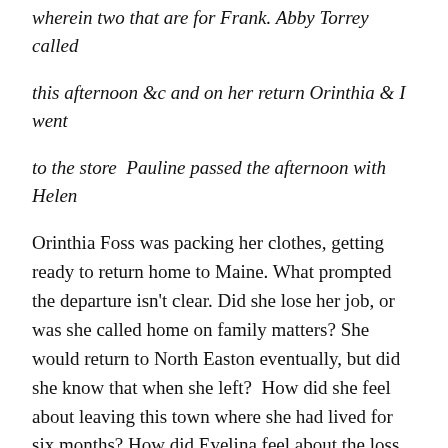wherein two that are for Frank. Abby Torrey called
this afternoon &c and on her return Orinthia & I went
to the store  Pauline passed the afternoon with Helen
Orinthia Foss was packing her clothes, getting ready to return home to Maine. What prompted the departure isn't clear. Did she lose her job, or was she called home on family matters? She would return to North Easton eventually, but did she know that when she left?  How did she feel about leaving this town where she had lived for six months? How did Evelina feel about the loss of her young friend, even temporarily?